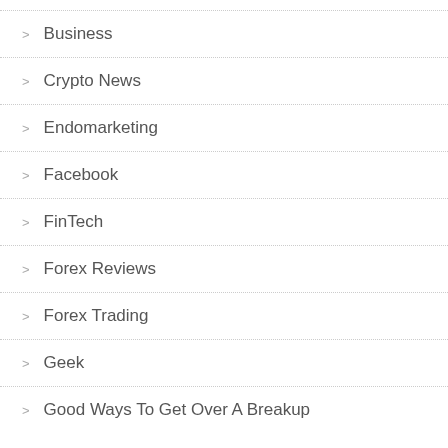Business
Crypto News
Endomarketing
Facebook
FinTech
Forex Reviews
Forex Trading
Geek
Good Ways To Get Over A Breakup